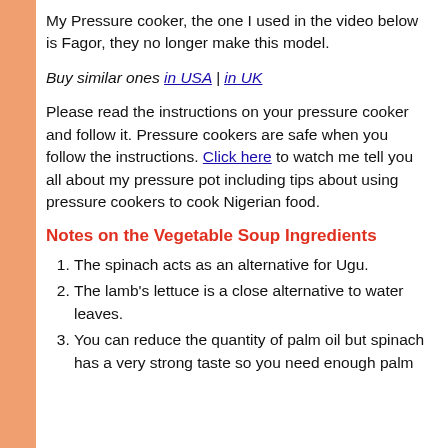My Pressure cooker, the one I used in the video below is Fagor, they no longer make this model.
Buy similar ones in USA | in UK
Please read the instructions on your pressure cooker and follow it. Pressure cookers are safe when you follow the instructions. Click here to watch me tell you all about my pressure pot including tips about using pressure cookers to cook Nigerian food.
Notes on the Vegetable Soup Ingredients
The spinach acts as an alternative for Ugu.
The lamb's lettuce is a close alternative to water leaves.
You can reduce the quantity of palm oil but spinach has a very strong taste so you need enough palm